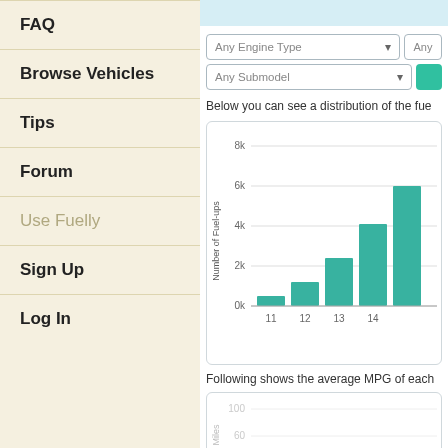FAQ
Browse Vehicles
Tips
Forum
Use Fuelly
Sign Up
Log In
Below you can see a distribution of the fue...
[Figure (histogram): Number of Fuel-ups distribution]
Following shows the average MPG of each...
[Figure (bar-chart): Average MPG]